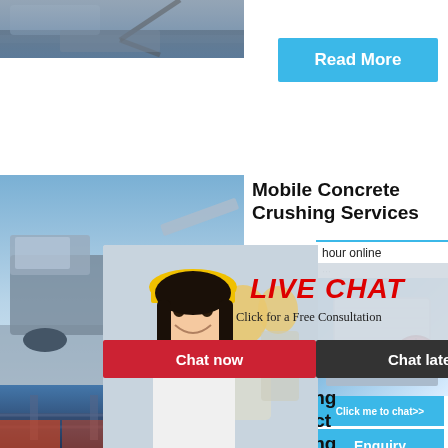[Figure (photo): Construction machinery / quarry equipment photo, top left]
Read More
[Figure (photo): Mobile concrete crushing equipment on site, middle left]
Mobile Concrete Crushing Services
[Figure (photo): Live chat overlay with smiling woman in hard hat and colleagues in background, LIVE CHAT text in red italic, Click for a Free Consultation subtitle, Chat now and Chat later buttons]
hour online
[Figure (photo): Crushing/jaw machine equipment product photo on blue background]
Click me to chat>>
Enquiry
limingjlmofen
[Figure (photo): Crushing contracting equipment photo, bottom left]
Crushing Contracting Crushing